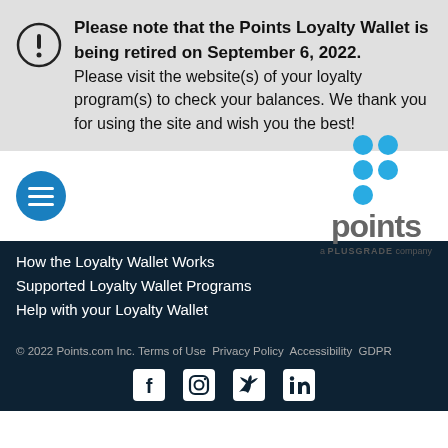Please note that the Points Loyalty Wallet is being retired on September 6, 2022. Please visit the website(s) of your loyalty program(s) to check your balances. We thank you for using the site and wish you the best!
[Figure (logo): Points.com logo with cyan dots grid and 'points' wordmark, 'a PLUSGRADE company' tagline]
How the Loyalty Wallet Works
Supported Loyalty Wallet Programs
Help with your Loyalty Wallet
© 2022 Points.com Inc. Terms of Use  Privacy Policy  Accessibility  GDPR